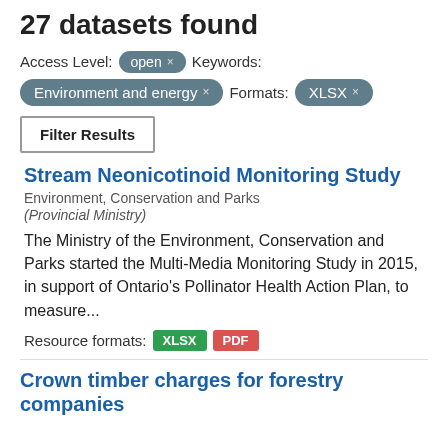27 datasets found
Access Level: open ×  Keywords:
Environment and energy ×  Formats:  XLSX ×
Filter Results
Stream Neonicotinoid Monitoring Study
Environment, Conservation and Parks
(Provincial Ministry)
The Ministry of the Environment, Conservation and Parks started the Multi-Media Monitoring Study in 2015, in support of Ontario's Pollinator Health Action Plan, to measure...
Resource formats: XLSX PDF
Crown timber charges for forestry companies